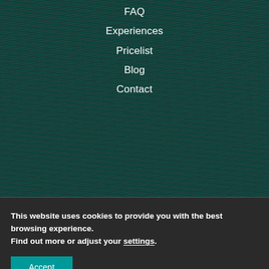[Figure (photo): Dark teal/green textured background resembling woven threads or feathers with vertical striped pattern]
FAQ
Experiences
Pricelist
Blog
Contact
“Let the beauty of what you love, be what you do.” – Rumi
This website uses cookies to provide you with the best browsing experience.
Find out more or adjust your settings.
Accept